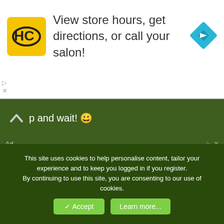[Figure (screenshot): Advertisement banner: HC logo (black H and C letters on yellow background), text 'View store hours, get directions, or call your salon!', blue diamond navigation icon on right]
…up and wait! 😀
[Figure (screenshot): Advertisement: Graduate Online in 16 Months - Graduate from Top-Ranked Washington State University 100% Online. Washington State Univ. Learn More button]
Pinggew
New Member
This site uses cookies to help personalise content, tailor your experience and to keep you logged in if you register.
By continuing to use this site, you are consenting to our use of cookies.
✓ Accept   Learn more...